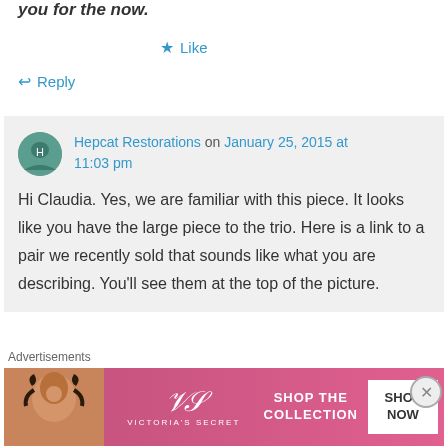you for the now.
★ Like
↩ Reply
Hepcat Restorations on January 25, 2015 at 11:03 pm
Hi Claudia. Yes, we are familiar with this piece. It looks like you have the large piece to the trio. Here is a link to a pair we recently sold that sounds like what you are describing. You'll see them at the top of the picture.
Advertisements
[Figure (photo): Victoria's Secret advertisement banner with a woman's photo, VS logo, 'SHOP THE COLLECTION' text, and 'SHOP NOW' button]